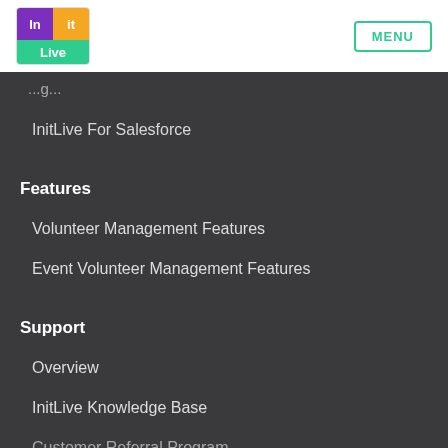[Figure (logo): InitLive logo with purple 'In', orange 'it', and green 'Live' text blocks]
MENU
InitLive For Salesforce
Features
Volunteer Management Features
Event Volunteer Management Features
Support
Overview
InitLive Knowledge Base
Customer Referral Program